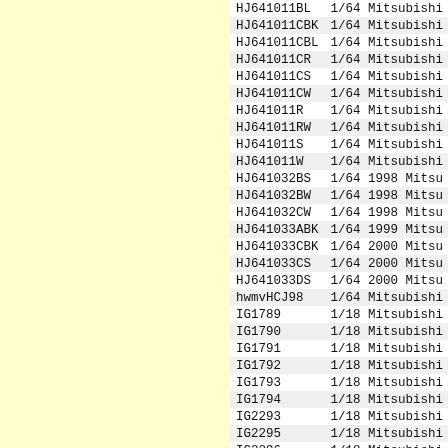| Product Code | Description |
| --- | --- |
| HJ641011BL | 1/64 Mitsubishi L |
| HJ641011CBK | 1/64 Mitsubishi L |
| HJ641011CBL | 1/64 Mitsubishi L |
| HJ641011CR | 1/64 Mitsubishi L |
| HJ641011CS | 1/64 Mitsubishi L |
| HJ641011CW | 1/64 Mitsubishi L |
| HJ641011R | 1/64 Mitsubishi L |
| HJ641011RW | 1/64 Mitsubishi L |
| HJ641011S | 1/64 Mitsubishi L |
| HJ641011W | 1/64 Mitsubishi L |
| HJ641032BS | 1/64 1998 Mitsu |
| HJ641032BW | 1/64 1998 Mitsu |
| HJ641032CW | 1/64 1998 Mitsu |
| HJ641033ABK | 1/64 1999 Mitsu |
| HJ641033CBK | 1/64 2000 Mitsu |
| HJ641033CS | 1/64 2000 Mitsu |
| HJ641033DS | 1/64 2000 Mitsu |
| hwmvHCJ98 | 1/64 Mitsubishi 3 |
| IG1789 | 1/18 Mitsubishi S |
| IG1790 | 1/18 Mitsubishi S |
| IG1791 | 1/18 Mitsubishi S |
| IG1792 | 1/18 Mitsubishi S |
| IG1793 | 1/18 Mitsubishi S |
| IG1794 | 1/18 Mitsubishi S |
| IG2293 | 1/18 Mitsubishi L |
| IG2295 | 1/18 Mitsubishi L |
| IG2296 | 1/18 Mitsubishi L |